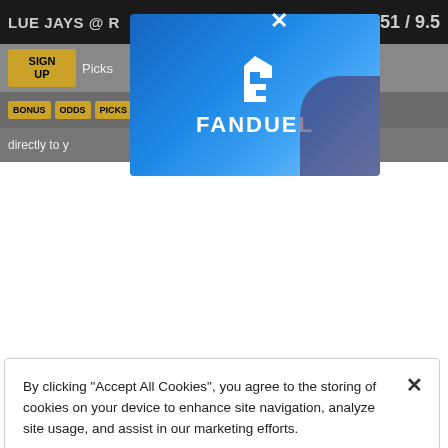[Figure (screenshot): Sports betting website screenshot showing Blue Jays game with score 151/9.5, navigation with SIGN UP button, BONUS/ODDS/PICKS tabs, and FanDuel advertisement popup overlay]
By clicking “Accept All Cookies”, you agree to the storing of cookies on your device to enhance site navigation, analyze site usage, and assist in our marketing efforts.
Cookies Settings
Reject All
Accept All Cookies